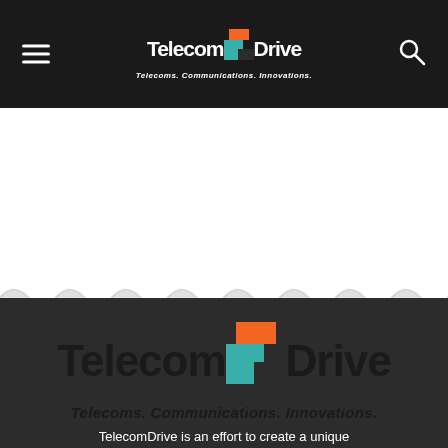[Figure (logo): TelecomDrive logo in header: orange and teal square icon with 'TelecomDrive' text and tagline 'Telecoms. Communications. Innovations.']
[Figure (logo): Large TelecomDrive logo in dark footer section: orange and teal square icon with bold 'TelecomDrive' text and italic tagline 'Telecoms. Communications. Innovations.']
TelecomDrive is an effort to create a unique